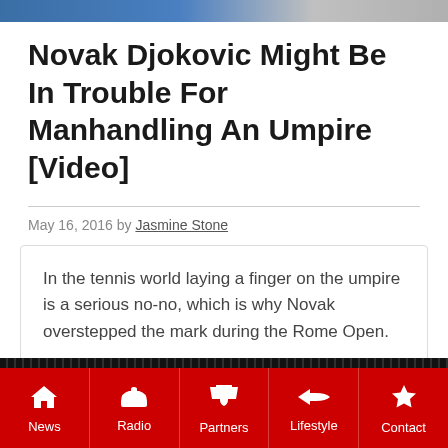[Figure (photo): Top banner image showing partial view of a person, cropped at top of page]
Novak Djokovic Might Be In Trouble For Manhandling An Umpire [Video]
May 16, 2016 by Jasmine Stone
In the tennis world laying a finger on the umpire is a serious no-no, which is why Novak overstepped the mark during the Rome Open.
Read More
[Figure (photo): Bottom partial image showing what appears to be a guitar or musical instrument]
News | Radio | Partners | Lifestyle | Contact